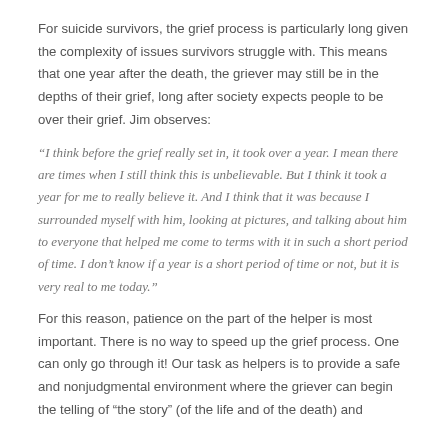For suicide survivors, the grief process is particularly long given the complexity of issues survivors struggle with. This means that one year after the death, the griever may still be in the depths of their grief, long after society expects people to be over their grief. Jim observes:
“I think before the grief really set in, it took over a year. I mean there are times when I still think this is unbelievable. But I think it took a year for me to really believe it. And I think that it was because I surrounded myself with him, looking at pictures, and talking about him to everyone that helped me come to terms with it in such a short period of time. I don’t know if a year is a short period of time or not, but it is very real to me today.”
For this reason, patience on the part of the helper is most important. There is no way to speed up the grief process. One can only go through it! Our task as helpers is to provide a safe and nonjudgmental environment where the griever can begin the telling of “the story” (of the life and of the death) and